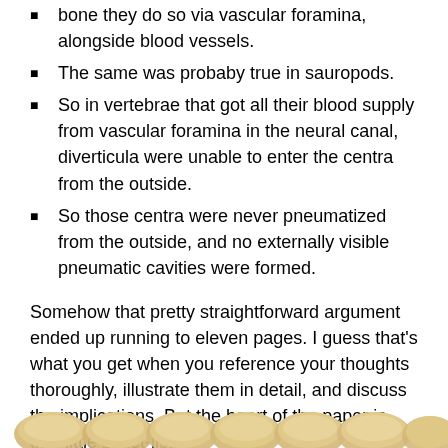bone they do so via vascular foramina, alongside blood vessels.
The same was probaby true in sauropods.
So in vertebrae that got all their blood supply from vascular foramina in the neural canal, diverticula were unable to enter the centra from the outside.
So those centra were never pneumatized from the outside, and no externally visible pneumatic cavities were formed.
Somehow that pretty straightforward argument ended up running to eleven pages. I guess that's what you get when you reference your thoughts thoroughly, illustrate them in detail, and discuss the implications. But the heart of the paper is that little bullet-list.
[Figure (photo): Row of yellowish-tan vertebrae bones shown from above at the bottom of the page.]